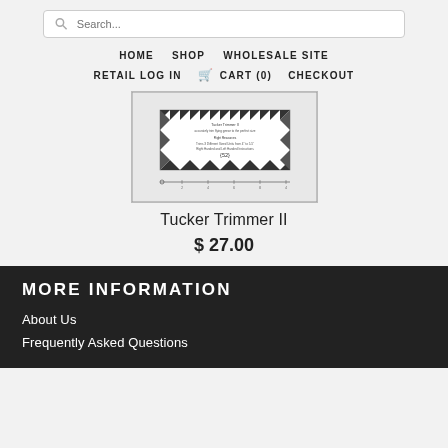Search... | HOME | SHOP | WHOLESALE SITE | RETAIL LOG IN | CART (0) | CHECKOUT
[Figure (photo): Product image of Tucker Trimmer II - a quilt trimmer ruler with triangular pattern border and measurement markings]
Tucker Trimmer II
$ 27.00
MORE INFORMATION
About Us
Frequently Asked Questions